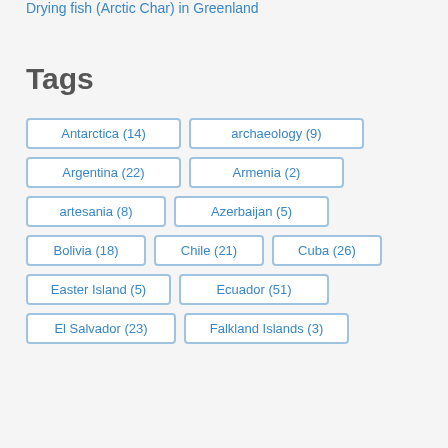Drying fish (Arctic Char) in Greenland
Tags
Antarctica (14)
archaeology (9)
Argentina (22)
Armenia (2)
artesania (8)
Azerbaijan (5)
Bolivia (18)
Chile (21)
Cuba (26)
Easter Island (5)
Ecuador (51)
El Salvador (23)
Falkland Islands (3)